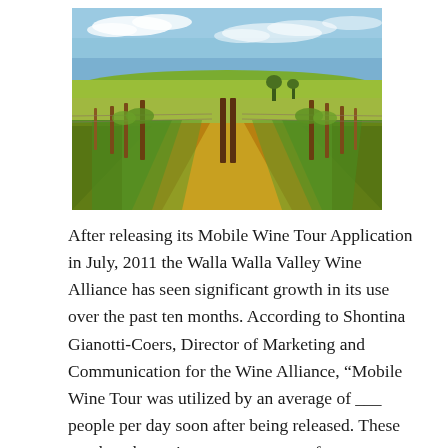[Figure (photo): Vineyard rows with wooden posts stretching into the distance under a partly cloudy blue sky, with green grapevines and golden-brown soil]
After releasing its Mobile Wine Tour Application in July, 2011 the Walla Walla Valley Wine Alliance has seen significant growth in its use over the past ten months. According to Shontina Gianotti-Coers, Director of Marketing and Communication for the Wine Alliance, “Mobile Wine Tour was utilized by an average of ___ people per day soon after being released. These numbers have risen to an average of ___ users per day during the spring season of 2012.